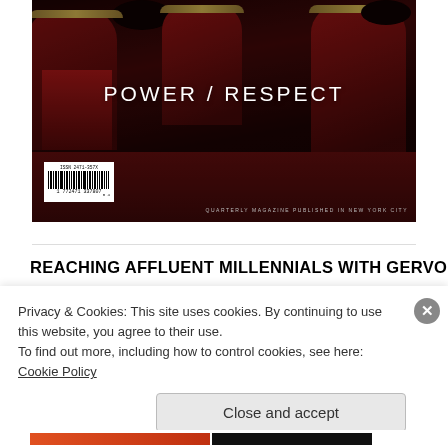[Figure (photo): Magazine cover for 'POWER / RESPECT' quarterly magazine published in New York City. Shows a dark, upscale restaurant interior with deep red/maroon chairs and tables. A barcode (ISSN 2471-357X) is visible in the lower left of the cover image. Tagline reads 'QUARTERLY MAGAZINE PUBLISHED IN NEW YORK CITY'.]
REACHING AFFLUENT MILLENNIALS WITH GERVOIS
Privacy & Cookies: This site uses cookies. By continuing to use this website, you agree to their use.
To find out more, including how to control cookies, see here: Cookie Policy
Close and accept